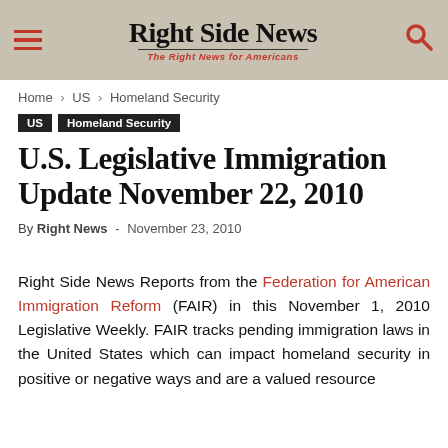Right Side News — The Right News for Americans
Home › US › Homeland Security
US  Homeland Security
U.S. Legislative Immigration Update November 22, 2010
By Right News - November 23, 2010
Right Side News Reports from the Federation for American Immigration Reform (FAIR) in this November 1, 2010 Legislative Weekly. FAIR tracks pending immigration laws in the United States which can impact homeland security in positive or negative ways and are a valued resource